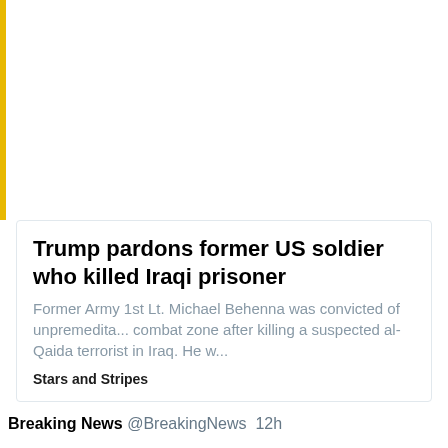[Figure (screenshot): White area with yellow left border, top portion of a social media/news feed screenshot]
Trump pardons former US soldier who killed Iraqi prisoner
Former Army 1st Lt. Michael Behenna was convicted of unpremedita... combat zone after killing a suspected al-Qaida terrorist in Iraq. He w...
Stars and Stripes
Breaking News @BreakingNews 12h
President Trump has granted a pardon to a former first lieutenant in